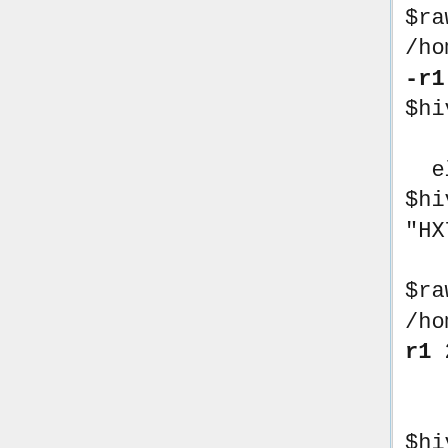$raw_hive_weight=`/usr/bin/sudo /home/hivetool/cpw200plus.sh -r1 -d $hive_weight_device`;
        }
  elsif ($hive_weight_sensor eq "HX711") {

$raw_hive_weight=`/usr/bin/sudo /home/hivetool/hx711.sh -r1 2>&1`;
        }
    elsif ($hive_weight_sensor eq "HX711py") {

$raw_hive_weight=`/usr/bin/sudo /home/hivetool/hx711py.sh -r1 2>&1`;
        }